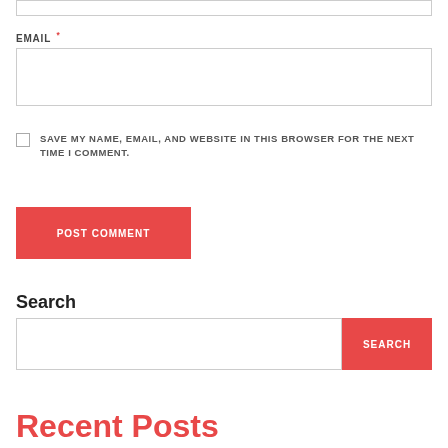EMAIL *
SAVE MY NAME, EMAIL, AND WEBSITE IN THIS BROWSER FOR THE NEXT TIME I COMMENT.
POST COMMENT
Search
SEARCH
Recent Posts